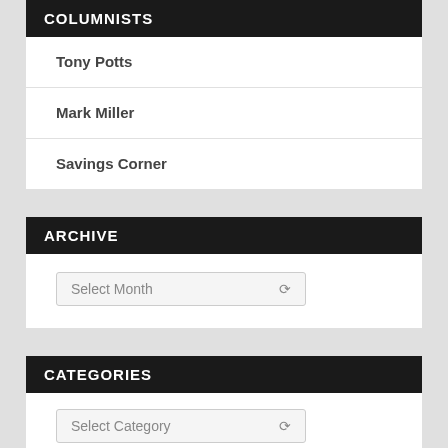COLUMNISTS
Tony Potts
Mark Miller
Savings Corner
ARCHIVE
Select Month
CATEGORIES
Select Category